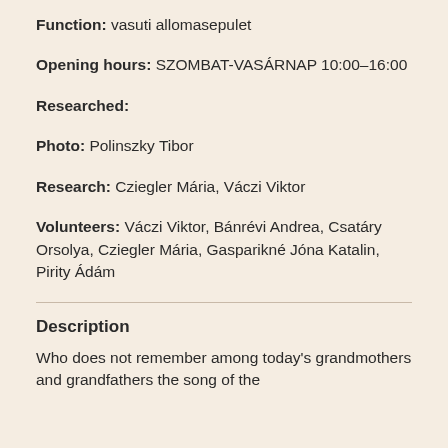Function: vasuti allomasepulet
Opening hours: SZOMBAT-VASÁRNAP 10:00–16:00
Researched:
Photo: Polinszky Tibor
Research: Cziegler Mária, Váczi Viktor
Volunteers: Váczi Viktor, Bánrévi Andrea, Csatáry Orsolya, Cziegler Mária, Gasparikné Jóna Katalin, Pirity Ádám
Description
Who does not remember among today's grandmothers and grandfathers the song of the